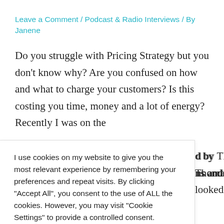Leave a Comment / Podcast & Radio Interviews / By Janene
Do you struggle with Pricing Strategy but you don't know why? Are you confused on how and what to charge your customers? Is this costing you time, money and a lot of energy? Recently I was on the
d by Thomas
ns and looked
I use cookies on my website to give you the most relevant experience by remembering your preferences and repeat visits. By clicking "Accept All", you consent to the use of ALL the cookies. However, you may visit "Cookie Settings" to provide a controlled consent.
Cookie Settings
Accept All